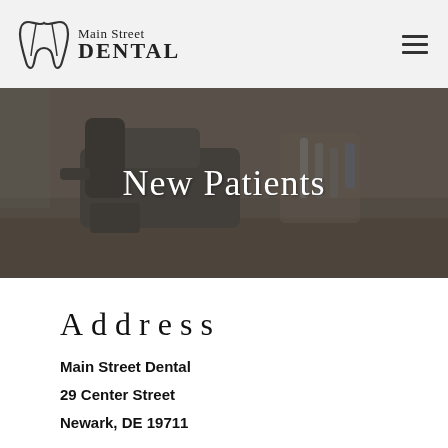[Figure (logo): Main Street Dental logo with tooth icon and stylized text]
[Figure (photo): Dental office room with dental chair and equipment, darkened overlay with 'New Patients' text overlay]
New Patients
Address
Main Street Dental
29 Center Street
Newark, DE 19711